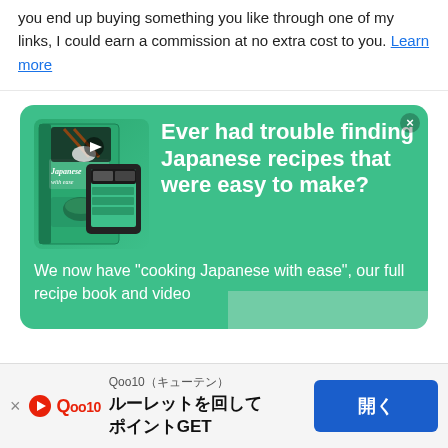you end up buying something you like through one of my links, I could earn a commission at no extra cost to you. Learn more
[Figure (infographic): Green promotional card for 'Japanese with ease' cookbook showing book cover image with chopsticks and sushi, and text: Ever had trouble finding Japanese recipes that were easy to make? We now have "cooking Japanese with ease", our full recipe book and video...]
[Figure (infographic): Bottom advertisement banner for Qoo10 (キューテン) with Qoo10 logo, Japanese text 'ルーレットを回してポイントGET' and blue button '開く', with close X button]